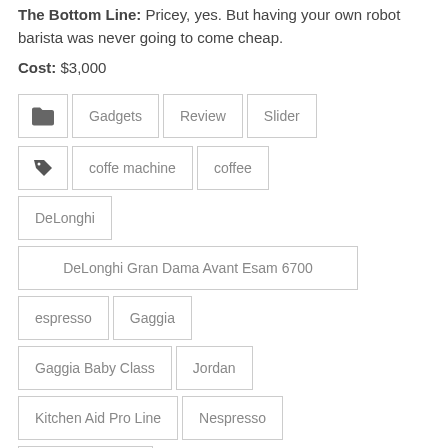The Bottom Line: Pricey, yes. But having your own robot barista was never going to come cheap.
Cost: $3,000
Categories: Gadgets, Review, Slider
Tags: coffe machine, coffee, DeLonghi, DeLonghi Gran Dama Avant Esam 6700, espresso, Gaggia, Gaggia Baby Class, Jordan, Kitchen Aid Pro Line, Nespresso, Nespresso Pixie
About Laith Abu-Ragheb